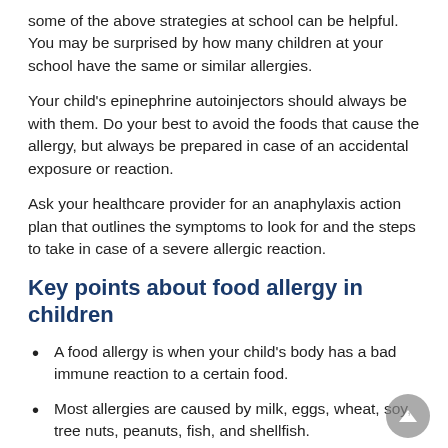some of the above strategies at school can be helpful. You may be surprised by how many children at your school have the same or similar allergies.
Your child's epinephrine autoinjectors should always be with them. Do your best to avoid the foods that cause the allergy, but always be prepared in case of an accidental exposure or reaction.
Ask your healthcare provider for an anaphylaxis action plan that outlines the symptoms to look for and the steps to take in case of a severe allergic reaction.
Key points about food allergy in children
A food allergy is when your child's body has a bad immune reaction to a certain food.
Most allergies are caused by milk, eggs, wheat, soy, tree nuts, peanuts, fish, and shellfish.